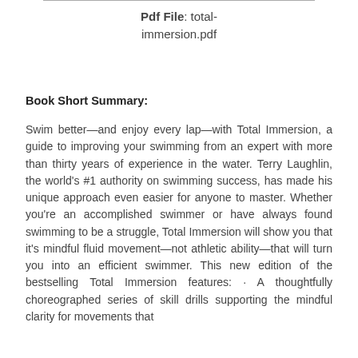Pdf File: total-immersion.pdf
Book Short Summary:
Swim better—and enjoy every lap—with Total Immersion, a guide to improving your swimming from an expert with more than thirty years of experience in the water. Terry Laughlin, the world's #1 authority on swimming success, has made his unique approach even easier for anyone to master. Whether you're an accomplished swimmer or have always found swimming to be a struggle, Total Immersion will show you that it's mindful fluid movement—not athletic ability—that will turn you into an efficient swimmer. This new edition of the bestselling Total Immersion features: · A thoughtfully choreographed series of skill drills supporting the mindful clarity for movements that